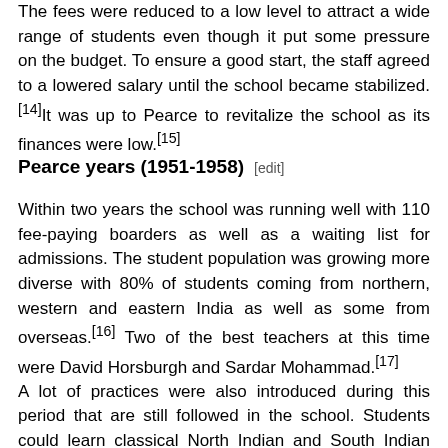The fees were reduced to a low level to attract a wide range of students even though it put some pressure on the budget. To ensure a good start, the staff agreed to a lowered salary until the school became stabilized.[14]It was up to Pearce to revitalize the school as its finances were low.[15]
Pearce years (1951-1958) [edit]
Within two years the school was running well with 110 fee-paying boarders as well as a waiting list for admissions. The student population was growing more diverse with 80% of students coming from northern, western and eastern India as well as some from overseas.[16] Two of the best teachers at this time were David Horsburgh and Sardar Mohammad.[17] A lot of practices were also introduced during this period that are still followed in the school. Students could learn classical North Indian and South Indian music. Local folk dancing was brought in by David Horsburgh. Hiking, trekking and camping were also encouraged and teachers would often accompany students. One of Pearce's long lasting innovations at Rishi Valley was his introduction of 'astachal'. Children would gather together every evening to sit quietly